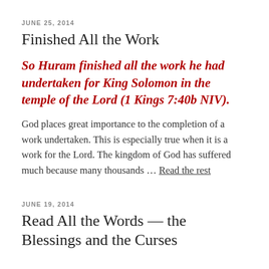JUNE 25, 2014
Finished All the Work
So Huram finished all the work he had undertaken for King Solomon in the temple of the Lord (1 Kings 7:40b NIV).
God places great importance to the completion of a work undertaken. This is especially true when it is a work for the Lord. The kingdom of God has suffered much because many thousands … Read the rest
JUNE 19, 2014
Read All the Words — the Blessings and the Curses